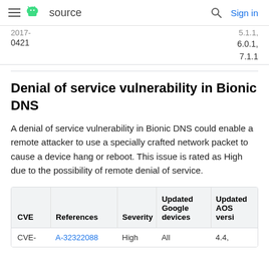≡  source   🔍  Sign in
| … | …, 6.0.1, 7.1.1 |
| 0421 |  |
Denial of service vulnerability in Bionic DNS
A denial of service vulnerability in Bionic DNS could enable a remote attacker to use a specially crafted network packet to cause a device hang or reboot. This issue is rated as High due to the possibility of remote denial of service.
| CVE | References | Severity | Updated Google devices | Updated AOSP versions |
| --- | --- | --- | --- | --- |
| CVE- | A-32322088 | High | All | 4.4, … |